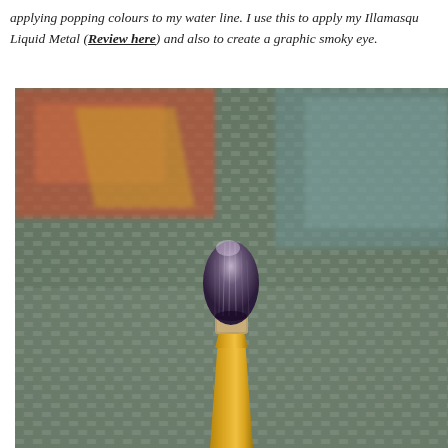applying popping colours to my water line. I use this to apply my Illamasqu Liquid Metal (Review here) and also to create a graphic smoky eye.
[Figure (photo): Close-up photo of a makeup brush with dark purple/black bristles and a golden handle, resting upright on a woven grey surface (basket weave texture). Background shows blurred orange/red and teal/grey objects.]